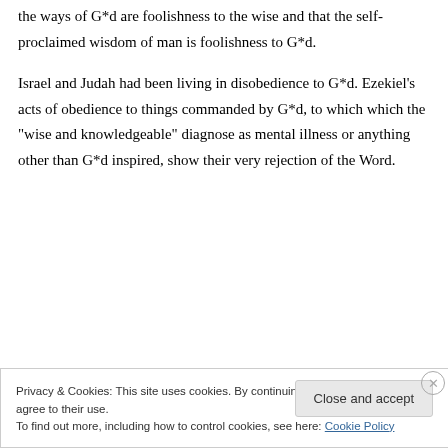... tell us over and over through Scripture that the ways of G*d are foolishness to the wise and that the self-proclaimed wisdom of man is foolishness to G*d.
Israel and Judah had been living in disobedience to G*d. Ezekiel’s acts of obedience to things commanded by G*d, to which which the “wise and knowledgeable” diagnose as mental illness or anything other than G*d inspired, show their very rejection of the Word.
Privacy & Cookies: This site uses cookies. By continuing to use this website, you agree to their use.
To find out more, including how to control cookies, see here: Cookie Policy